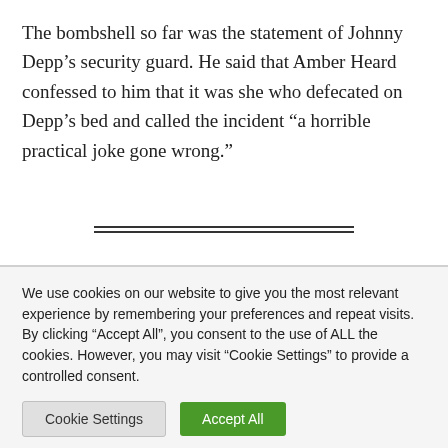The bombshell so far was the statement of Johnny Depp’s security guard. He said that Amber Heard confessed to him that it was she who defecated on Depp’s bed and called the incident “a horrible practical joke gone wrong.”
We use cookies on our website to give you the most relevant experience by remembering your preferences and repeat visits. By clicking “Accept All”, you consent to the use of ALL the cookies. However, you may visit “Cookie Settings” to provide a controlled consent.